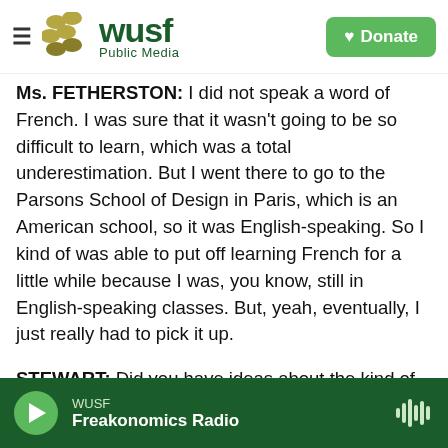WUSF Public Media | Donate
Ms. FETHERSTON: I did not speak a word of French. I was sure that it wasn't going to be so difficult to learn, which was a total underestimation. But I went there to go to the Parsons School of Design in Paris, which is an American school, so it was English-speaking. So I kind of was able to put off learning French for a little while because I was, you know, still in English-speaking classes. But, yeah, eventually, I just really had to pick it up.
STEWART: Did you have ideas about the kind of clothes you wanted to make?
Ms. FETHERSTON: Yeah, more or less. I think I did
WUSF Freakonomics Radio